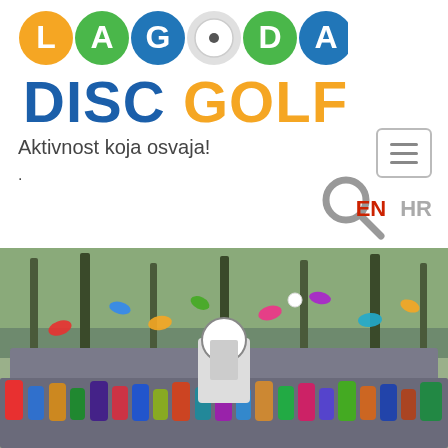[Figure (logo): Lagoda Disc Golf logo with colorful letter icons spelling LAGODA on top and DISC GOLF below]
Aktivnost koja osvaja!
.
[Figure (other): Hamburger menu button (three horizontal lines in a rounded rectangle)]
[Figure (other): Search icon (magnifying glass) in gray]
EN  HR
[Figure (photo): Large group photo of disc golf players outdoors throwing colorful discs into the air, with trees in the background and a disc golf basket in the center]